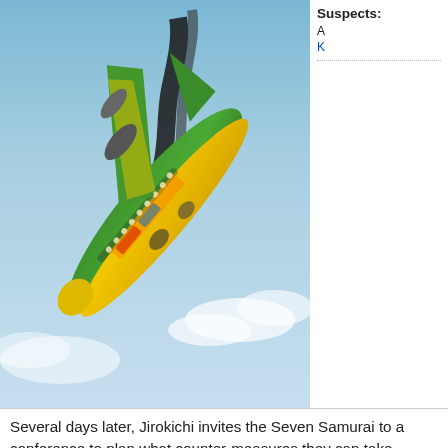[Figure (illustration): Animated airplane with yellow and green livery in a steep dive against a blue sky background with dark smoke trailing behind it.]
Suspects:
A
K
Several days later, Jirokichi invites the Seven Samurai to a conference to plan what counter-measures they can take against Kid. The owners of the other paintings had also become reluctant in loaning him their paintings. That morning, Conan, Agasa, and the Detective Boys head to the Sompo Japan Nipponkoa Museum of Art, to see the 5th painting. Just after Conan leaves, Kogoro receives another notice from Kid. The Samurai decode it and find that the notice states that he will steal the 5th painting tonight. Conan, Haibara, and the others are viewing the 5th painting together with an old woman named Umeno, said to visit and view the painting every day, when Jirokichi, Kogoro, Inspector Nakamori, and the others arrive. Conan quickly realizes a case is unfolding and